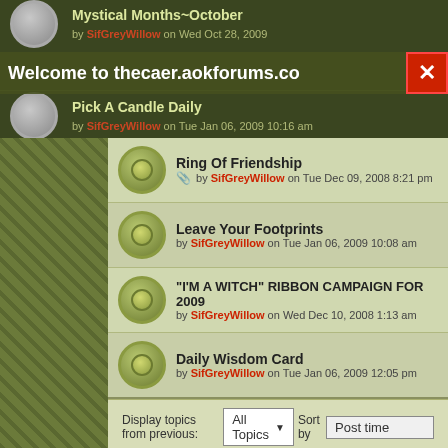Welcome to thecaer.aokforums.com
Mystical Months~October by SifGreyWillow on Wed Oct 28, 2009
Pick A Candle Daily by SifGreyWillow on Tue Jan 06, 2009 10:16 am
Ring Of Friendship by SifGreyWillow on Tue Dec 09, 2008 8:21 pm
Leave Your Footprints by SifGreyWillow on Tue Jan 06, 2009 10:08 am
"I'M A WITCH" RIBBON CAMPAIGN FOR 2009 by SifGreyWillow on Wed Dec 10, 2008 1:13 am
Daily Wisdom Card by SifGreyWillow on Tue Jan 06, 2009 12:05 pm
Display topics from previous: All Topics  Sort by  Post time
NEWTOPIC *
Return to Board index  Jump to: General
WHO IS ONLINE
Users browsing this forum: No registered users and 1 guest
FORUM PERMISSIONS